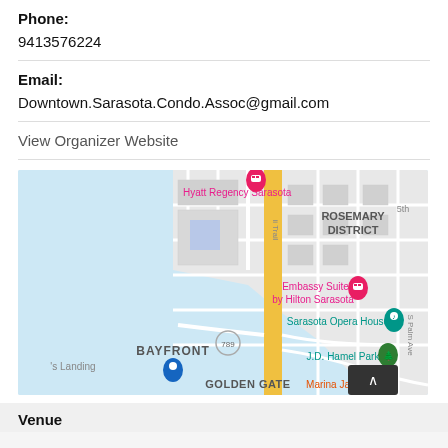Phone:
9413576224
Email:
Downtown.Sarasota.Condo.Assoc@gmail.com
View Organizer Website
[Figure (map): Google Maps view of downtown Sarasota, FL showing Hyatt Regency Sarasota, Embassy Suites by Hilton Sarasota, Sarasota Opera House, J.D. Hamel Park, Marina Jack, Bayfront, Golden Gate, Rosemary District areas. The Tamiami Trail runs vertically through the center.]
Venue